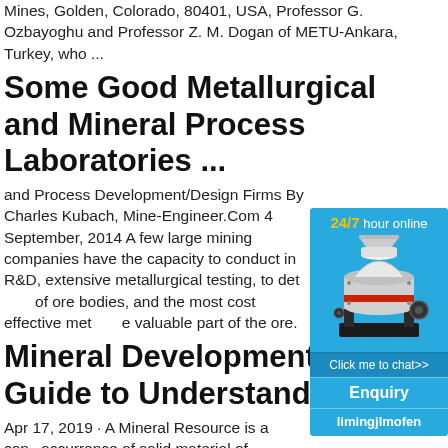Mines, Golden, Colorado, 80401, USA, Professor G. Ozbayoghu and Professor Z. M. Dogan of METU-Ankara, Turkey, who ...
Some Good Metallurgical and Mineral Process Laboratories ...
and Process Development/Design Firms By Charles Kubach, Mine-Engineer.Com 4 September, 2014 A few large mining companies have the capacity to conduct in R&D, extensive metallurgical testing, to det of ore bodies, and the most cost effective met e valuable part of the ore.
Mineral Development: A Guide to Understanding
Apr 17, 2019 · A Mineral Resource is a con occurrence of solid material of economic in Earth's crust in such form, grade or quality there are reasonable prospects for eventua extraction. Geological evidence is derived f
[Figure (other): Advertisement widget with blue background showing a cone crusher machine, '24/7 hour online' text in yellow and white, 'Click me to chat>>' button, 'Enquiry' section, and 'limingjlmofen' text at bottom.]